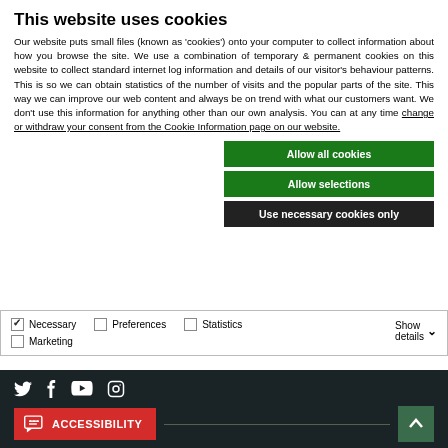This website uses cookies
Our website puts small files (known as 'cookies') onto your computer to collect information about how you browse the site. We use a combination of temporary & permanent cookies on this website to collect standard internet log information and details of our visitor's behaviour patterns. This is so we can obtain statistics of the number of visits and the popular parts of the site. This way we can improve our web content and always be on trend with what our customers want. We don't use this information for anything other than our own analysis. You can at any time change or withdraw your consent from the Cookie Information page on our website.
Allow all cookies
Allow selections
Use necessary cookies only
Necessary  Preferences  Statistics  Marketing  Show details
Sitemap | Privacy | Copyright Notice | Disclaimer | A to Z | Cookie Information | Modify Cookie...